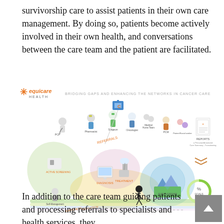survivorship care to assist patients in their own care management. By doing so, patients become actively involved in their own health, and conversations between the care team and the patient are facilitated.
[Figure (infographic): Equicare Health infographic titled 'Bridging Gaps and Enhancing the Networks in Cancer Care' showing a patient journey pathway with icons for care team members (PCP, pharmacist, surgeon, oncologist, medical home team, PCM, patient/social worker), stages (referrals, diagnosis, treatment, survivorship), reports/care summaries, goals, education, and awareness icons along a winding colored road.]
In addition to the care team guiding patients and processing referrals to specialists and health services, they